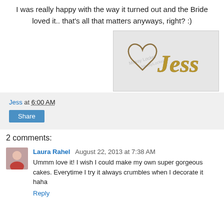I was really happy with the way it turned out and the Bride loved it.. that's all that matters anyways, right? :)
[Figure (logo): A logo featuring a hand-drawn heart outline and stylized gold cursive text reading 'Jess' on a light grey background]
Jess at 6:00 AM
Share
2 comments:
Laura Rahel  August 22, 2013 at 7:38 AM
Ummm love it! I wish I could make my own super gorgeous cakes. Everytime I try it always crumbles when I decorate it haha
Reply